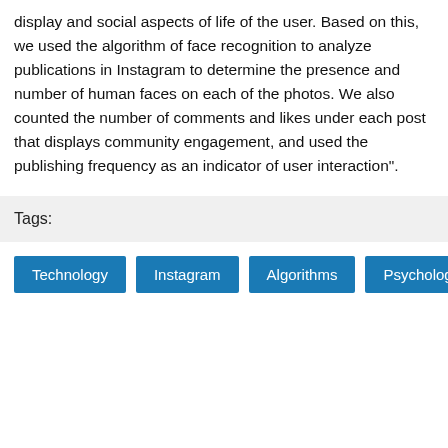display and social aspects of life of the user. Based on this, we used the algorithm of face recognition to analyze publications in Instagram to determine the presence and number of human faces on each of the photos. We also counted the number of comments and likes under each post that displays community engagement, and used the publishing frequency as an indicator of user interaction".
Tags:
Technology
Instagram
Algorithms
Psychology